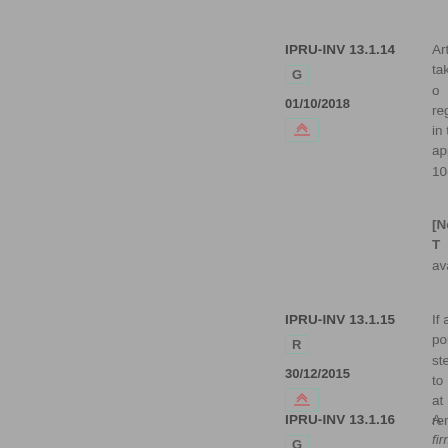IPRU-INV 13.1.14
G
01/10/2018
Article 1... take into... regulato... in that i... apply to... 10(7) of...
[Note: T... availabl...
IPRU-INV 13.1.15
R
30/12/2015
If a polic... steps to... at renew...
IPRU-INV 13.1.16
G
A firm s... and whe...